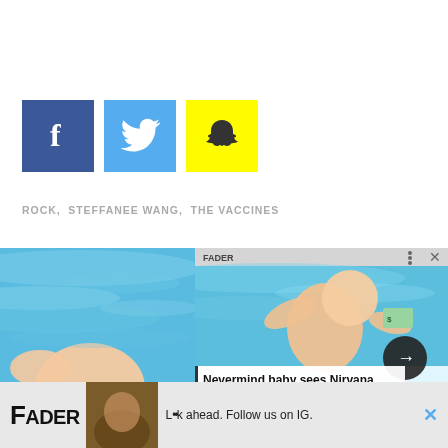[Figure (infographic): Social media share icons: Facebook (dark blue), Twitter (light blue), Snapchat (yellow)]
ROCK, STEFFANEE WANG, THE VACCINES
[Figure (photo): Two overlapping screenshots/photos: left shows underwater baby image (Nirvana Nevermind album cover style), right shows a mobile browser displaying the same image with navigation arrows, three-dots menu, and close X button. An overlay text box reads: Nevermind baby sees Nirvana child pornography]
Nevermind baby sees Nirvana child pornography
[Figure (screenshot): Advertisement bar at bottom showing FADER logo, thumbnail image, and text: L••k ahead. Follow us on IG. with a blue X close button]